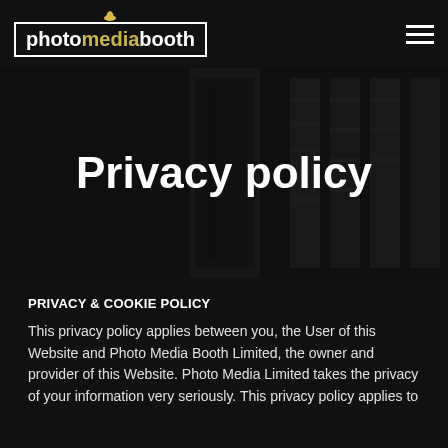[Figure (logo): photomediabooth logo with bowler hat icon, white text in bordered box, 'media' in gold color]
Privacy policy
[Figure (photo): Dark background photo showing photo booth equipment and printed photo strips]
PRIVACY & COOKIE POLICY
This privacy policy applies between you, the User of this Website and Photo Media Booth Limited, the owner and provider of this Website. Photo Media Limited takes the privacy of your information very seriously. This privacy policy applies to